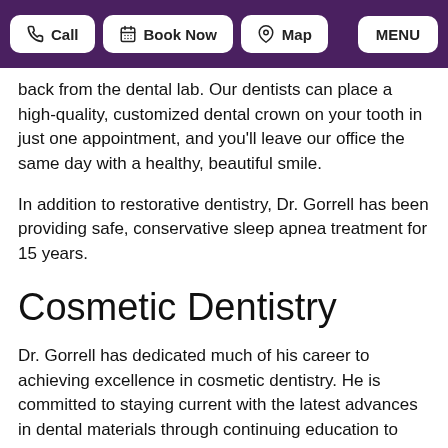Call | Book Now | Map | MENU
back from the dental lab. Our dentists can place a high-quality, customized dental crown on your tooth in just one appointment, and you'll leave our office the same day with a healthy, beautiful smile.
In addition to restorative dentistry, Dr. Gorrell has been providing safe, conservative sleep apnea treatment for 15 years.
Cosmetic Dentistry
Dr. Gorrell has dedicated much of his career to achieving excellence in cosmetic dentistry. He is committed to staying current with the latest advances in dental materials through continuing education to bring you the latest and best that cosmetic dentistry offers. Dr. Gorrell has also been a member of the American Academy of Cosmetic